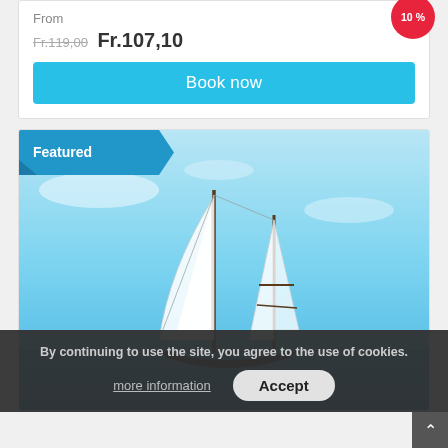From
Fr.119,00 Fr.107,10
Book now
Featured
[Figure (photo): A tall sailing ship with white sails against a blue sky, sailing on blue water.]
By continuing to use the site, you agree to the use of cookies.
more information
Accept